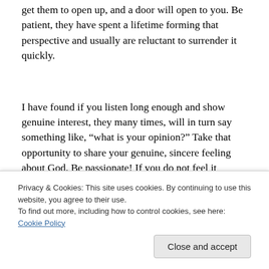get them to open up, and a door will open to you.  Be patient, they have spent a lifetime forming that perspective and usually are reluctant to surrender it quickly.
I have found if you listen long enough and show genuine interest, they many times, will in turn say something like, “what is your opinion?” Take that opportunity to share your genuine, sincere feeling about God.  Be passionate! If you do not feel it strongly, they will intuitively know it is not...
Privacy & Cookies: This site uses cookies. By continuing to use this website, you agree to their use.
To find out more, including how to control cookies, see here: Cookie Policy